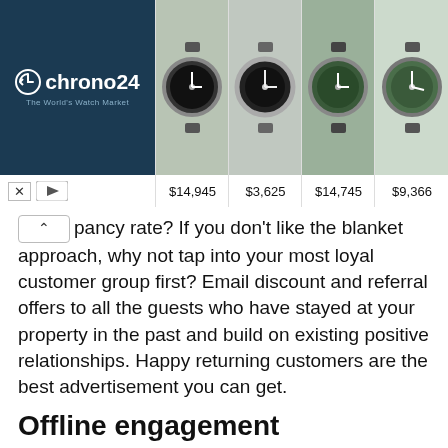[Figure (screenshot): Chrono24 advertisement banner showing luxury watches with prices: $14,945, $3,625, $14,745, $9,366]
pancy rate? If you don't like the blanket approach, why not tap into your most loyal customer group first? Email discount and referral offers to all the guests who have stayed at your property in the past and build on existing positive relationships. Happy returning customers are the best advertisement you can get.
Offline engagement
Speaking of advertising, have you thought of thinking outside the digital box? If you want to stand out from the competition, use traditional promotional materials to enhance your digital channels.